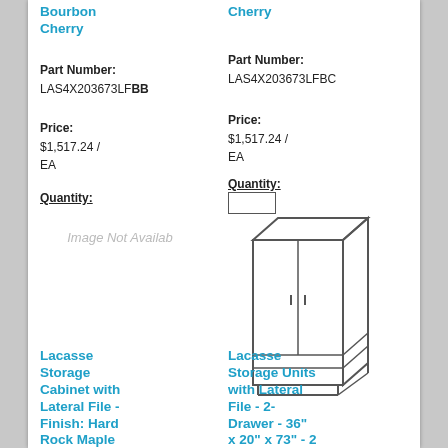Bourbon Cherry
Cherry
Part Number: LAS4X203673LFBB
Part Number: LAS4X203673LFBC
Price: $1,517.24 / EA
Price: $1,517.24 / EA
Quantity:
Quantity:
[Figure (illustration): Line drawing of a storage cabinet with lateral file drawers]
Image Not Availab
Lacasse Storage Cabinet with Lateral File - Finish: Hard Rock Maple
Lacasse Storage Units with Lateral File - 2-Drawer - 36" x 20" x 73" - 2